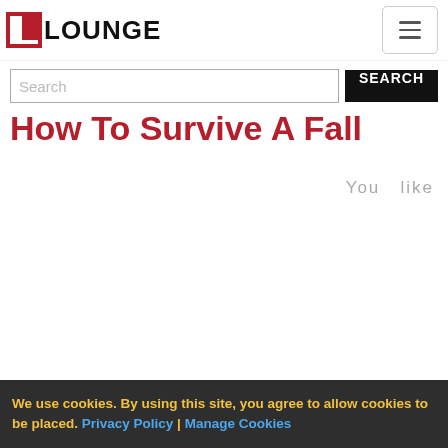LIFESTYLE LOUNGE
[Figure (screenshot): Search bar with text input field showing placeholder 'Search' and a black 'SEARCH' button]
How To Survive A Fall
You  like
We use cookies. By using this site, you agree to allow cookies to be placed. Privacy Policy | Manage Cookies